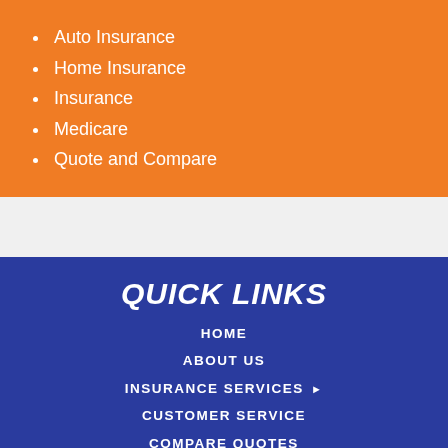Auto Insurance
Home Insurance
Insurance
Medicare
Quote and Compare
QUICK LINKS
HOME
ABOUT US
INSURANCE SERVICES ▶
CUSTOMER SERVICE
COMPARE QUOTES
INSURANCE BLOG
CONTACT US